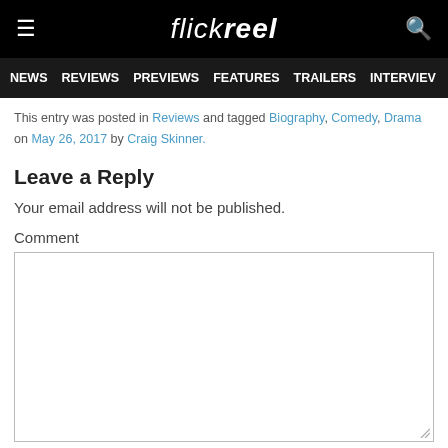flickreel
NEWS  REVIEWS  PREVIEWS  FEATURES  TRAILERS  INTERVIEWS
This entry was posted in Reviews and tagged Biography, Comedy, Drama on May 26, 2017 by Craig Skinner.
Leave a Reply
Your email address will not be published.
Comment